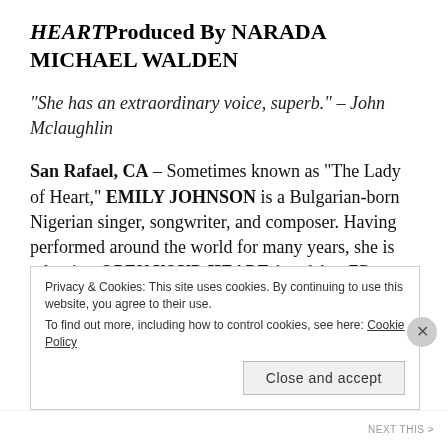HEARTProduced By NARADA MICHAEL WALDEN
“She has an extraordinary voice, superb.” – John Mclaughlin
San Rafael, CA – Sometimes known as “The Lady of Heart,” EMILY JOHNSON is a Bulgarian-born Nigerian singer, songwriter, and composer. Having performed around the world for many years, she is releasing OPEN YOUR HEART, her debut EP, on
Privacy & Cookies: This site uses cookies. By continuing to use this website, you agree to their use. To find out more, including how to control cookies, see here: Cookie Policy
Close and accept